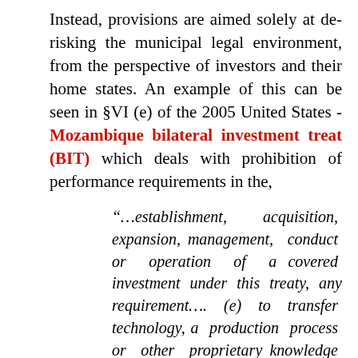Instead, provisions are aimed solely at de-risking the municipal legal environment, from the perspective of investors and their home states. An example of this can be seen in §VI (e) of the 2005 United States - Mozambique bilateral investment treat (BIT) which deals with prohibition of performance requirements in the,
“…establishment, acquisition, expansion, management, conduct or operation of a covered investment under this treaty, any requirement…. (e) to transfer technology, a production process or other proprietary knowledge to a national or company in the Party’s territory, except pursuant to an order, commitment or undertaking that is enforced by a court, administrative tribunal